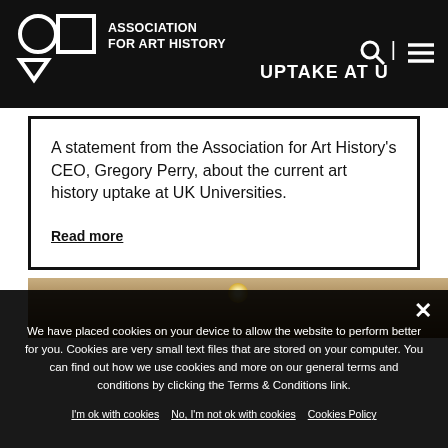Association for Art History — ART HISTORY UPTAKE AT UK UNIVERSITIES
A statement from the Association for Art History's CEO, Gregory Perry, about the current art history uptake at UK Universities.
Read more
[Figure (photo): Interior photo showing ceiling with a light fixture, warm tones]
We have placed cookies on your device to allow the website to perform better for you. Cookies are very small text files that are stored on your computer. You can find out how we use cookies and more on our general terms and conditions by clicking the Terms & Conditions link.
I'm ok with cookies   No, I'm not ok with cookies   Cookies Policy